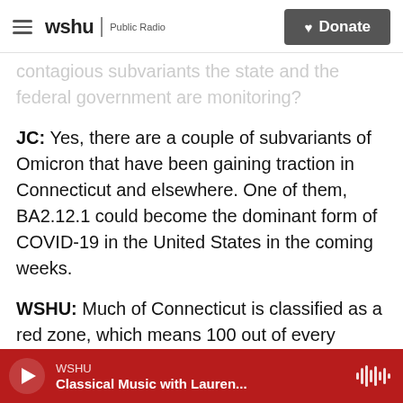WSHU Public Radio | Donate
contagious subvariants the state and the federal government are monitoring?
JC: Yes, there are a couple of subvariants of Omicron that have been gaining traction in Connecticut and elsewhere. One of them, BA2.12.1 could become the dominant form of COVID-19 in the United States in the coming weeks.
WSHU: Much of Connecticut is classified as a red zone, which means 100 out of every 100,000 people in each county are infected, according to the U.S. Centers for Disease Control and Prevention. The CDC recommends the state mask up indoors
WSHU | Classical Music with Lauren...